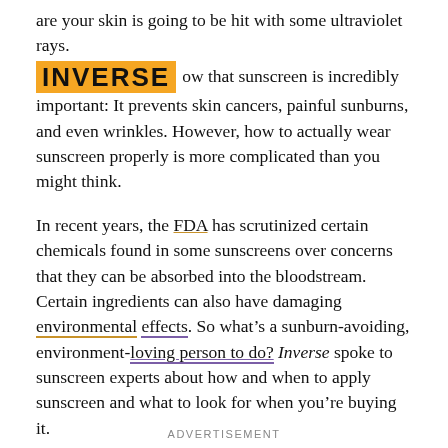are your skin is going to be hit with some ultraviolet rays. But you probably know that sunscreen is incredibly important: It prevents skin cancers, painful sunburns, and even wrinkles. However, how to actually wear sunscreen properly is more complicated than you might think.
[Figure (logo): Inverse logo in bold orange/gold block letters on yellow-orange background]
In recent years, the FDA has scrutinized certain chemicals found in some sunscreens over concerns that they can be absorbed into the bloodstream. Certain ingredients can also have damaging environmental effects. So what's a sunburn-avoiding, environment-loving person to do? Inverse spoke to sunscreen experts about how and when to apply sunscreen and what to look for when you're buying it.
ADVERTISEMENT